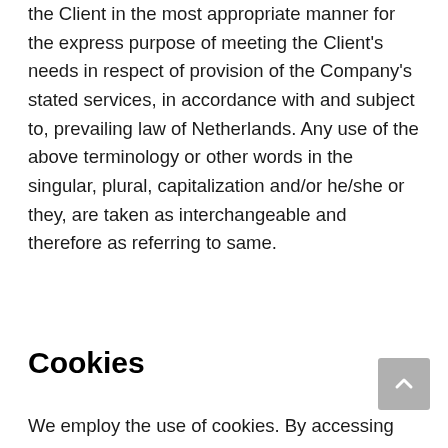the Client in the most appropriate manner for the express purpose of meeting the Client's needs in respect of provision of the Company's stated services, in accordance with and subject to, prevailing law of Netherlands. Any use of the above terminology or other words in the singular, plural, capitalization and/or he/she or they, are taken as interchangeable and therefore as referring to same.
Cookies
We employ the use of cookies. By accessing